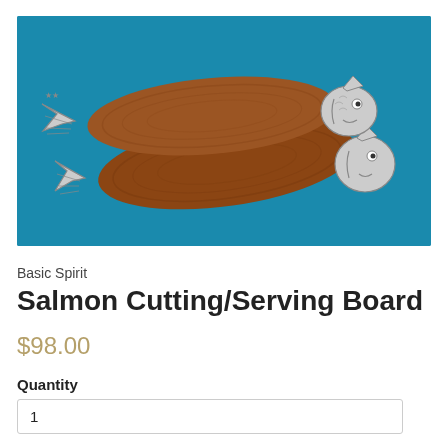[Figure (photo): Two fish-shaped wooden cutting/serving boards with decorative metal fish head and tail accents, displayed on a teal/blue background.]
Basic Spirit
Salmon Cutting/Serving Board
$98.00
Quantity
1